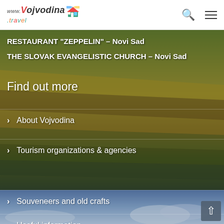www.Vojvodina.travel
RESTAURANT "ZEPPELIN" – Novi Sad
THE SLOVAK EVANGELISTIC CHURCH – Novi Sad
Find out more
About Vojvodina
Tourism organizations & agencies
Souveneers and old crafts
Useful information
Events
Friends of Website
Public Procurements